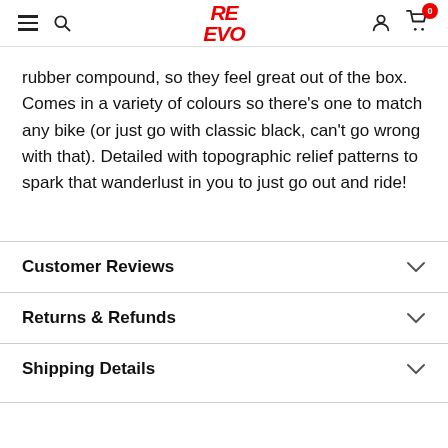RE EVO header with hamburger menu, search, logo, account, and cart (0)
rubber compound, so they feel great out of the box. Comes in a variety of colours so there’s one to match any bike (or just go with classic black, can't go wrong with that). Detailed with topographic relief patterns to spark that wanderlust in you to just go out and ride!
Customer Reviews
Returns & Refunds
Shipping Details